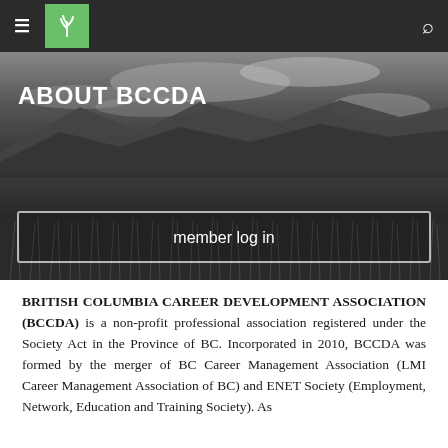[Figure (screenshot): Navigation bar with hamburger menu, green BCCDA plant logo, and search icon on dark background]
[Figure (photo): Black and white hero banner photo of a landscape with mountains, lake, and grassy fields under cloudy sky, with 'ABOUT BCCDA' title and 'member log in' button overlay]
BRITISH COLUMBIA CAREER DEVELOPMENT ASSOCIATION (BCCDA) is a non-profit professional association registered under the Society Act in the Province of BC. Incorporated in 2010, BCCDA was formed by the merger of BC Career Management Association (LMI Career Management Association of BC) and ENET Society (Employment, Network, Education and Training Society). As